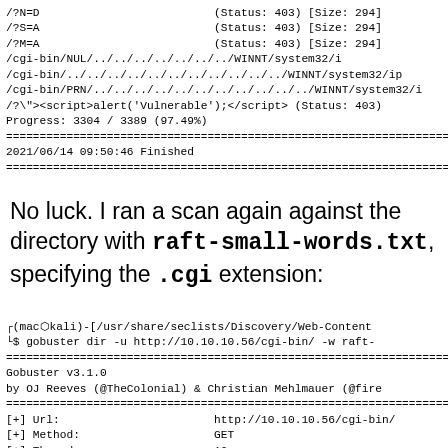/?N=D                          (Status: 403) [Size: 294]
/?S=A                          (Status: 403) [Size: 294]
/?M=A                          (Status: 403) [Size: 294]
/cgi-bin/NUL/../../../../../../../WINNT/system32/i
/cgi-bin/../../../../../../../../../../../WINNT/system32/ip
/cgi-bin/PRN/../../../../../../../../../../../WINNT/system32/i
/?\"\u003e\u003cscript\u003ealert('Vulnerable');\u003c/script\u003e (Status: 403)
Progress: 3304 / 3389 (97.49%)
================================================================================
2021/06/14 09:50:46 Finished
================================================================================
No luck. I ran a scan again against the directory with raft-small-words.txt, specifying the .cgi extension:
┌(mac␛kali)-[/usr/share/seclists/Discovery/Web-Content
└$ gobuster dir -u http://10.10.10.56/cgi-bin/ -w raft-
================================================================================
Gobuster v3.1.0
by OJ Reeves (@TheColonial) & Christian Mehlmauer (@fire
================================================================================
[+] Url:                       http://10.10.10.56/cgi-bin/
[+] Method:                    GET
[+] Threads:                   10
[+] Wordlist:                  raft-small-words.txt
[+] Negative Status codes:     404
[+] User Agent:                gobuster/3.1.0